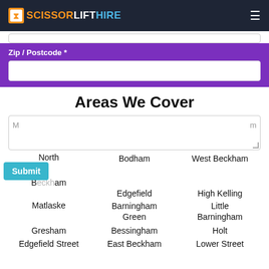SCISSORLIFTHIRE
Zip / Postcode *
Areas We Cover
North Beckham
Bodham
West Beckham
Edgefield
High Kelling
Matlaske
Barningham Green
Little Barningham
Gresham
Bessingham
Holt
Edgefield Street
East Beckham
Lower Street